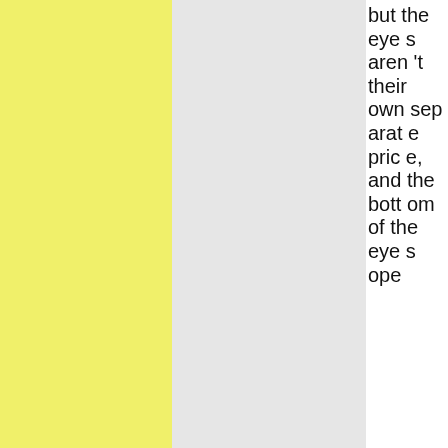[Figure (other): Yellow colored panel on the left side of the page]
[Figure (other): Gray colored panel in the middle of the page]
but the eyes aren't their own separate price, and the bottom of the eyes ope